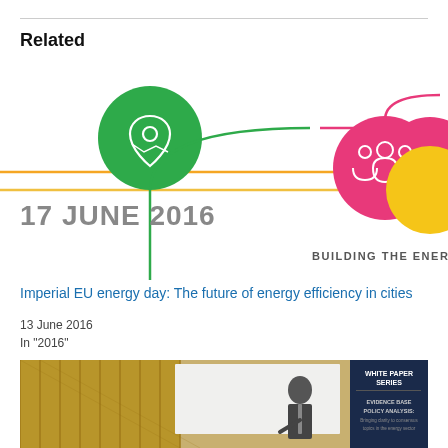Related
[Figure (infographic): Energy union infographic showing timeline with colored circles (green map icon, pink people icon, yellow icon) connected by colored lines, with text '17 JUNE 2016' and 'BUILDING THE ENERGY UNION TOG']
Imperial EU energy day: The future of energy efficiency in cities
13 June 2016
In "2016"
[Figure (photo): Photo of a man presenting in front of a whiteboard, with a 'WHITE PAPER SERIES / EVIDENCE BASE POLICY ANALYSIS' banner on the right]